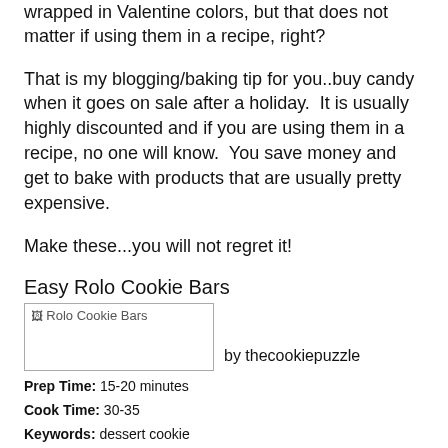wrapped in Valentine colors, but that does not matter if using them in a recipe, right?
That is my blogging/baking tip for you..buy candy when it goes on sale after a holiday.  It is usually highly discounted and if you are using them in a recipe, no one will know.  You save money and get to bake with products that are usually pretty expensive.
Make these...you will not regret it!
Easy Rolo Cookie Bars
[Figure (photo): Broken image placeholder labeled 'Rolo Cookie Bars' with attribution 'by thecookiepuzzle']
Prep Time: 15-20 minutes
Cook Time: 30-35
Keywords: dessert cookie